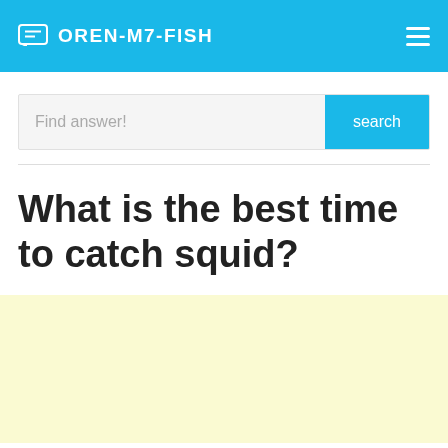OREN-M7-FISH
Find answer!
What is the best time to catch squid?